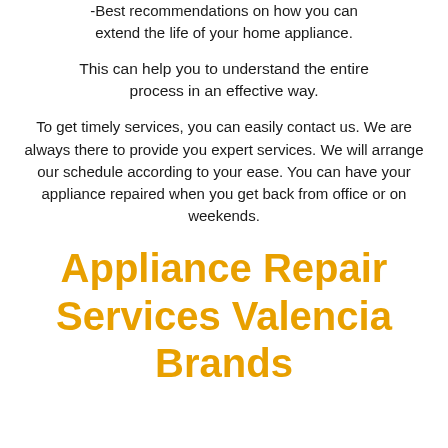-Best recommendations on how you can extend the life of your home appliance.
This can help you to understand the entire process in an effective way.
To get timely services, you can easily contact us. We are always there to provide you expert services. We will arrange our schedule according to your ease. You can have your appliance repaired when you get back from office or on weekends.
Appliance Repair Services Valencia Brands